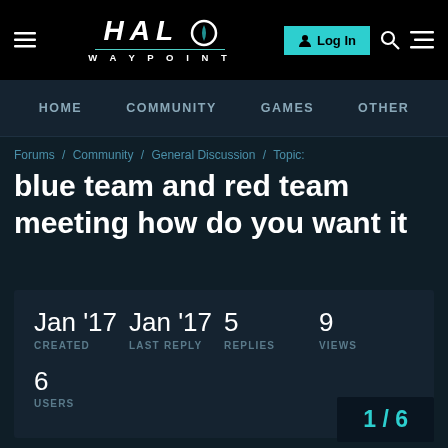[Figure (screenshot): Halo Waypoint website header with logo, Login button, search and menu icons]
HOME  COMMUNITY  GAMES  OTHER
Forums / Community / General Discussion / Topic:
blue team and red team meeting how do you want it
| CREATED | LAST REPLY | REPLIES | VIEWS | USERS |
| --- | --- | --- | --- | --- |
| Jan '17 | Jan '17 | 5 | 9 | 6 |
1 / 6